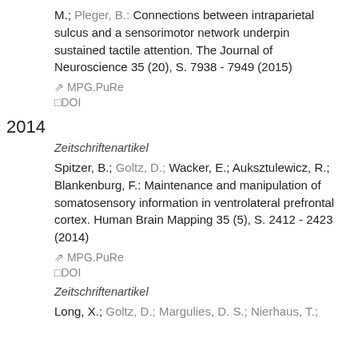M.; Pleger, B.: Connections between intraparietal sulcus and a sensorimotor network underpin sustained tactile attention. The Journal of Neuroscience 35 (20), S. 7938 - 7949 (2015)
MPG.PuRe
DOI
2014
Zeitschriftenartikel
Spitzer, B.; Goltz, D.; Wacker, E.; Auksztulewicz, R.; Blankenburg, F.: Maintenance and manipulation of somatosensory information in ventrolateral prefrontal cortex. Human Brain Mapping 35 (5), S. 2412 - 2423 (2014)
MPG.PuRe
DOI
Zeitschriftenartikel
Long, X.; Goltz, D.; Margulies, D. S.; Nierhaus, T.;